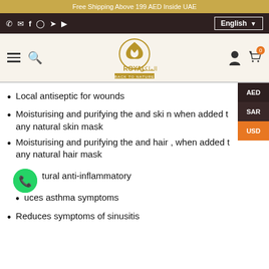Free Shipping Above 199 AED Inside UAE
[Figure (screenshot): Website navigation bar with phone, email, Facebook, Instagram, Twitter, YouTube icons and English language selector]
[Figure (logo): Royal Back to Nature logo in gold with Arabic text]
Local antiseptic for wounds
Moisturising and purifying the and ski n when added to any natural skin mask
Moisturising and purifying the and hair , when added to any natural hair mask
Natural anti-inflammatory
Reduces asthma symptoms
Reduces symptoms of sinusitis